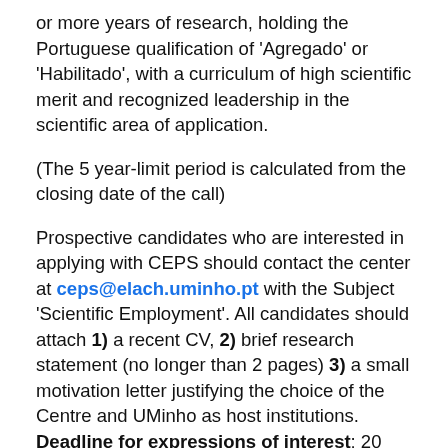or more years of research, holding the Portuguese qualification of 'Agregado' or 'Habilitado', with a curriculum of high scientific merit and recognized leadership in the scientific area of application.
(The 5 year-limit period is calculated from the closing date of the call)
Prospective candidates who are interested in applying with CEPS should contact the center at ceps@elach.uminho.pt with the Subject 'Scientific Employment'. All candidates should attach 1) a recent CV, 2) brief research statement (no longer than 2 pages) 3) a small motivation letter justifying the choice of the Centre and UMinho as host institutions. Deadline for expressions of interest: 20 February 2022.